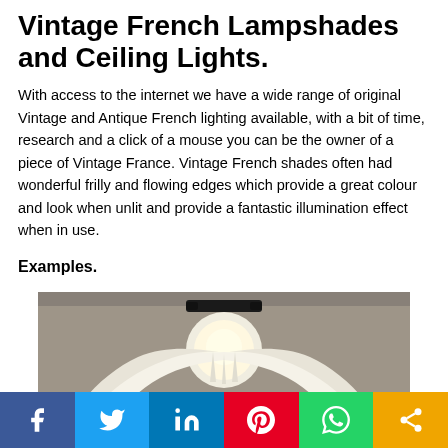Vintage French Lampshades and Ceiling Lights.
With access to the internet we have a wide range of original Vintage and Antique French lighting available, with a bit of time, research and a click of a mouse you can be the owner of a piece of Vintage France. Vintage French shades often had wonderful frilly and flowing edges which provide a great colour and look when unlit and provide a fantastic illumination effect when in use.
Examples.
[Figure (photo): A vintage French ceiling light lampshade with frilly flowing white fabric edges, lit from within, mounted on a dark ceiling fixture against a grey background.]
Social share bar: Facebook, Twitter, LinkedIn, Pinterest, WhatsApp, Share